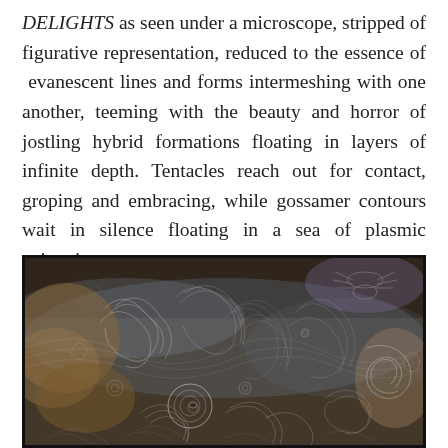DELIGHTS as seen under a microscope, stripped of figurative representation, reduced to the essence of evanescent lines and forms intermeshing with one another, teeming with the beauty and horror of jostling hybrid formations floating in layers of infinite depth. Tentacles reach out for contact, groping and embracing, while gossamer contours wait in silence floating in a sea of plasmic animation.
[Figure (illustration): A densely detailed artwork resembling a microscopic view of organic forms — intricate swirling lines, tentacles, shell-like spirals, insect-like creatures, and layered biomorphic shapes rendered in muted browns, greys, blues and whites against a dark background.]